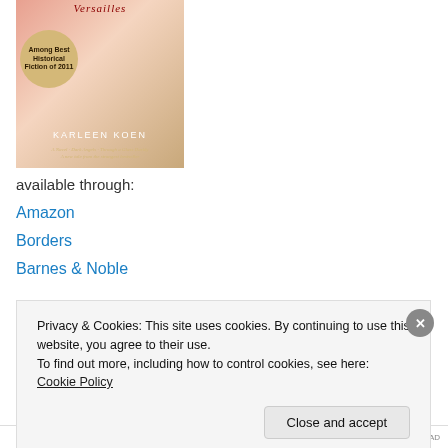[Figure (illustration): Book cover of a historical fiction novel about Versailles by Karleen Koen, featuring a noblewoman in period costume; includes a gold badge reading 'Among Best Historical Fiction of 2011']
available through:
Amazon
Borders
Barnes & Noble
[Figure (illustration): Partial view of a second book cover with dark background]
Privacy & Cookies: This site uses cookies. By continuing to use this website, you agree to their use.
To find out more, including how to control cookies, see here: Cookie Policy
Close and accept